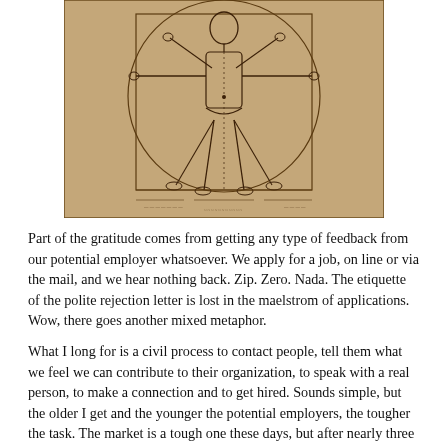[Figure (illustration): Vitruvian Man illustration — a classical pen-and-ink style drawing of a man with arms and legs outstretched inscribed in a circle and square, reminiscent of Leonardo da Vinci's famous work, on aged parchment-colored background.]
Part of the gratitude comes from getting any type of feedback from our potential employer whatsoever. We apply for a job, on line or via the mail, and we hear nothing back. Zip. Zero. Nada. The etiquette of the polite rejection letter is lost in the maelstrom of applications. Wow, there goes another mixed metaphor.
What I long for is a civil process to contact people, tell them what we feel we can contribute to their organization, to speak with a real person, to make a connection and to get hired. Sounds simple, but the older I get and the younger the potential employers, the tougher the task. The market is a tough one these days, but after nearly three score years on this earth, I will